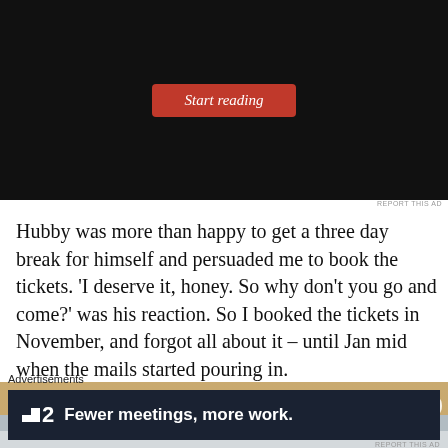[Figure (screenshot): Black background UI with red 'Start reading' button]
REPORT THIS AD
Hubby was more than happy to get a three day break for himself and persuaded me to book the tickets. 'I deserve it, honey. So why don't you go and come?' was his reaction. So I booked the tickets in November, and forgot all about it – until Jan mid when the mails started pouring in.
[Figure (photo): Partial photo of what appears to be an airplane overhead bin or luggage shelf]
Advertisements
[Figure (screenshot): Dark advertisement banner for a product showing logo and text 'Fewer meetings, more work.']
REPORT THIS AD